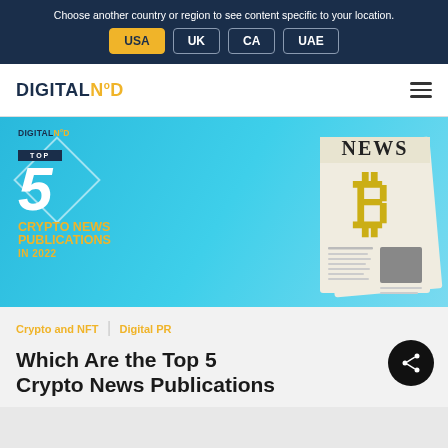Choose another country or region to see content specific to your location. USA UK CA UAE
DIGITAL NOD
[Figure (illustration): DigitalNod branded hero image with 'TOP 5 CRYPTO NEWS PUBLICATIONS IN 2022' text, diamond graphic, large '5' numeral, and 3D newspaper with Bitcoin symbol on blue background]
Crypto and NFT   Digital PR
Which Are the Top 5 Crypto News Publications